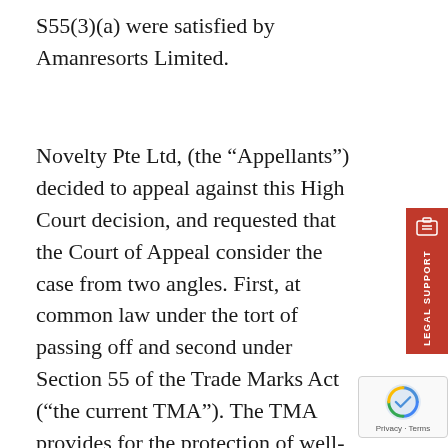S55(3)(a) were satisfied by Amanresorts Limited.
Novelty Pte Ltd, (the “Appellants”) decided to appeal against this High Court decision, and requested that the Court of Appeal consider the case from two angles. First, at common law under the tort of passing off and second under Section 55 of the Trade Marks Act (“the current TMA”). The TMA provides for the protection of well-known trademarks. Unfortunately for the Appellants, the Court of Appeal dismissed their claim and affirmed the High Court’s Decision.